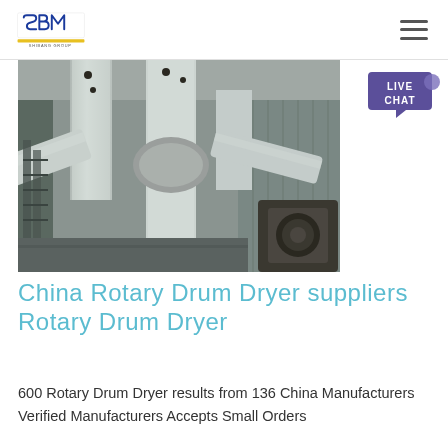SBM SHIBANG GROUP
[Figure (photo): Industrial rotary drum dryer equipment showing large white cylindrical pipes and ductwork inside a factory/warehouse building. The machinery features multiple large diameter pipes converging, with industrial scaffolding and structures visible in the background. A 'LIVE CHAT' speech bubble icon appears in the upper right corner of the image area.]
China Rotary Drum Dryer suppliers Rotary Drum Dryer
600 Rotary Drum Dryer results from 136 China Manufacturers Verified Manufacturers Accepts Small Orders